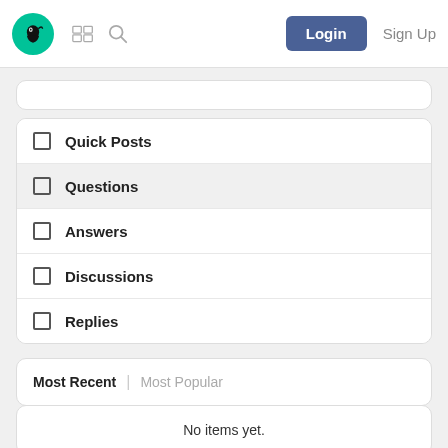Login  Sign Up
Quick Posts
Questions
Answers
Discussions
Replies
Most Recent | Most Popular
No items yet.